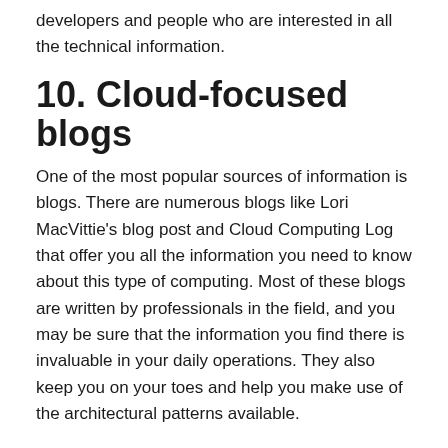developers and people who are interested in all the technical information.
10. Cloud-focused blogs
One of the most popular sources of information is blogs. There are numerous blogs like Lori MacVittie's blog post and Cloud Computing Log that offer you all the information you need to know about this type of computing. Most of these blogs are written by professionals in the field, and you may be sure that the information you find there is invaluable in your daily operations. They also keep you on your toes and help you make use of the architectural patterns available.
Conclusion